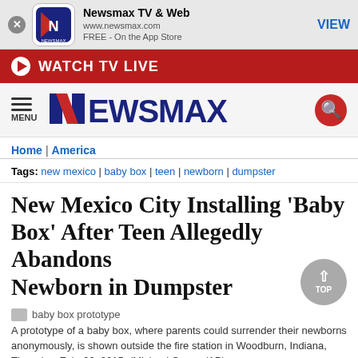Newsmax TV & Web | www.newsmax.com | FREE - On the App Store | VIEW
WATCH TV LIVE
[Figure (logo): Newsmax logo with hamburger menu and search icon]
Home | America
Tags: new mexico | baby box | teen | newborn | dumpster
New Mexico City Installing 'Baby Box' After Teen Allegedly Abandons Newborn in Dumpster
baby box prototype
A prototype of a baby box, where parents could surrender their newborns anonymously, is shown outside the fire station in Woodburn, Indiana, Thursday, Feb. 26, 2015. (Michael Conroy/AP)